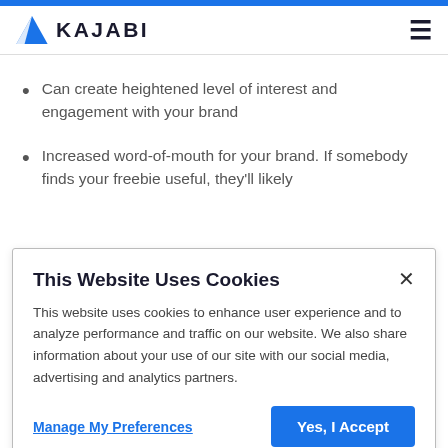KAJABI
Can create heightened level of interest and engagement with your brand
Increased word-of-mouth for your brand. If somebody finds your freebie useful, they'll likely
This Website Uses Cookies
This website uses cookies to enhance user experience and to analyze performance and traffic on our website. We also share information about your use of our site with our social media, advertising and analytics partners.
Manage My Preferences
Yes, I Accept